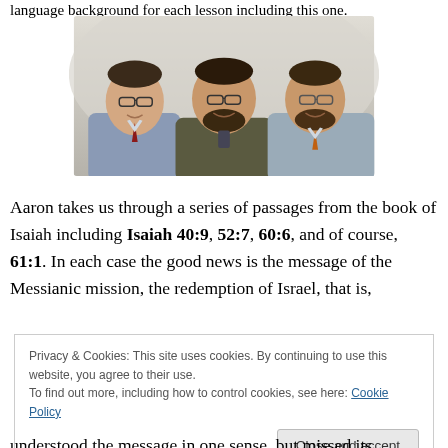language background for each lesson including this one.
[Figure (photo): Three men posing together for a photo, smiling at the camera. Left man wears glasses and a red tie, center man has a beard and glasses, right man has a beard and glasses with an orange tie.]
Aaron takes us through a series of passages from the book of Isaiah including Isaiah 40:9, 52:7, 60:6, and of course, 61:1. In each case the good news is the message of the Messianic mission, the redemption of Israel, that is,
Privacy & Cookies: This site uses cookies. By continuing to use this website, you agree to their use.
To find out more, including how to control cookies, see here: Cookie Policy
understood the message in one sense, but missed its